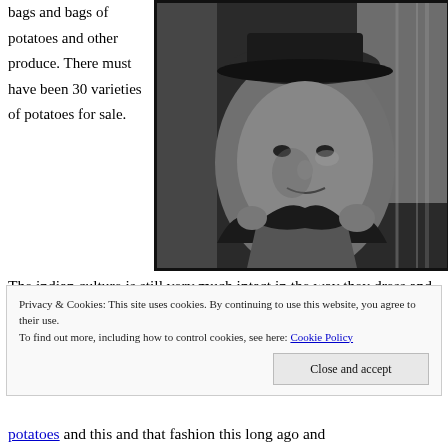bags and bags of potatoes and other produce.  There must have been 30 varieties of potatoes for sale.
[Figure (photo): Black and white close-up photograph of a man wearing a hat and a dark wrap or poncho, looking at the camera with a serious expression. Background shows some hanging fabric or material.]
The indian culture is still very much intact in the way they dress and I felt like I was back in the
Privacy & Cookies: This site uses cookies. By continuing to use this website, you agree to their use. To find out more, including how to control cookies, see here: Cookie Policy
Close and accept
potatoes and this and that fashion this long ago and